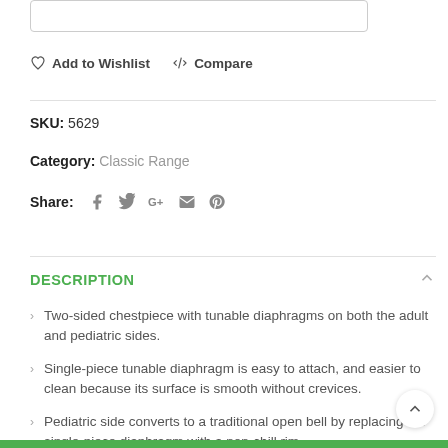Add to Wishlist   Compare
SKU: 5629
Category: Classic Range
Share:
DESCRIPTION
Two-sided chestpiece with tunable diaphragms on both the adult and pediatric sides.
Single-piece tunable diaphragm is easy to attach, and easier to clean because its surface is smooth without crevices.
Pediatric side converts to a traditional open bell by replacing the single-piece diaphragm with a non-chill rim.